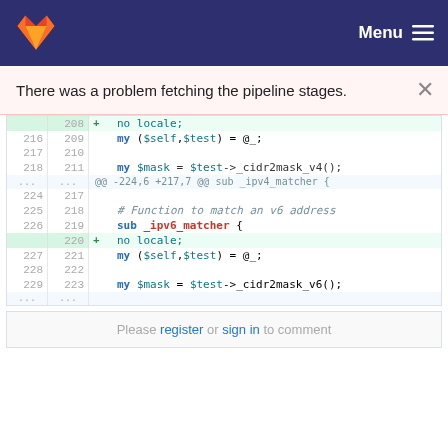Menu
There was a problem fetching the pipeline stages.
[Figure (screenshot): GitLab diff view showing code changes to Perl subroutines _ipv4_matcher and _ipv6_matcher with added 'no locale;' lines]
Please register or sign in to comment